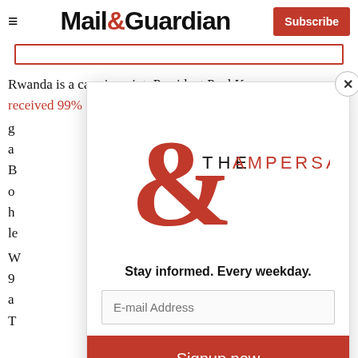Mail&Guardian — Subscribe
[Figure (screenshot): Mail & Guardian subscription newsletter modal popup with 'THE AMPERSAND' logo, email signup form, and 'Signup now' button overlaying article text about Rwanda and President Paul Kagame receiving 99% of the vote in August 2017]
Rwanda is a case in point. President Paul Kagame received 99% of the vote in August 2017. There's no g... a... B... o... h... le... W... 9... a... T...